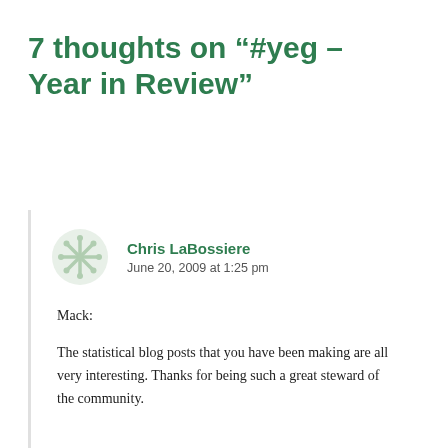7 thoughts on “#yeg – Year in Review”
Chris LaBossiere
June 20, 2009 at 1:25 pm
Mack:
The statistical blog posts that you have been making are all very interesting. Thanks for being such a great steward of the community.